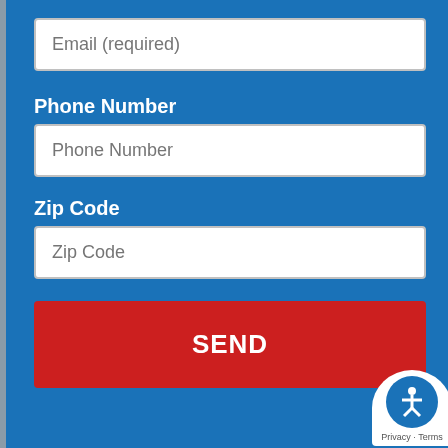[Figure (screenshot): Web form input field with placeholder text 'Email (required)']
Phone Number
[Figure (screenshot): Web form input field with placeholder text 'Phone Number']
Zip Code
[Figure (screenshot): Web form input field with placeholder text 'Zip Code']
SEND
Privacy - Terms